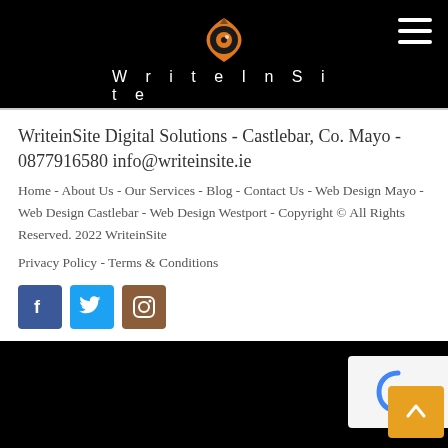WriteInSite
WriteinSite Digital Solutions - Castlebar, Co. Mayo - 0877916580 info@writeinsite.ie
Home - About Us - Our Services - Blog - Contact Us - Web Design Mayo - Web Design Castlebar - Web Design Westport - Copyright © All Rights Reserved. 2022 WriteinSite
Privacy Policy - Terms & Conditions
[Figure (infographic): Social media icons: Facebook (blue), Twitter (light blue), Instagram (brown)]